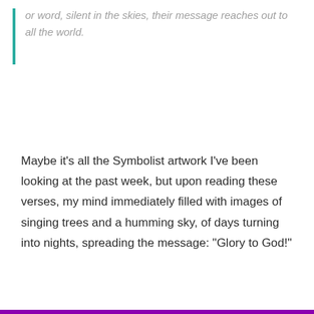or word, silent in the skies, their message reaches out to all the world.
Maybe it's all the Symbolist artwork I've been looking at the past week, but upon reading these verses, my mind immediately filled with images of singing trees and a humming sky, of days turning into nights, spreading the message: "Glory to God!"